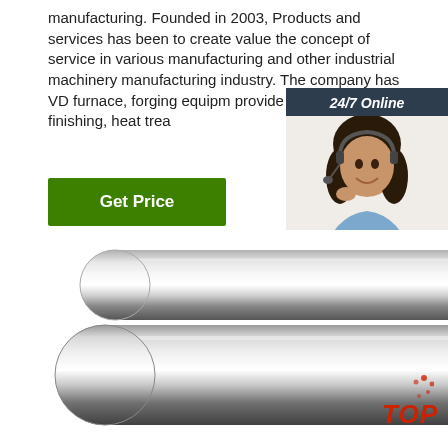manufacturing. Founded in 2003, Products and services has been to create value the concept of service in various manufacturing and other industrial machinery manufacturing industry. The company has VD furnace, forging equipm... provide the roughing, finishing, heat trea...
Get Price
[Figure (infographic): 24/7 Online chat widget with a woman wearing a headset, dark background with 'Click here for free chat!' text and an orange QUOTATION button.]
[Figure (photo): Shiny chrome/steel cylindrical metal rods photographed against a white background, with a red TOP badge in the bottom right corner.]